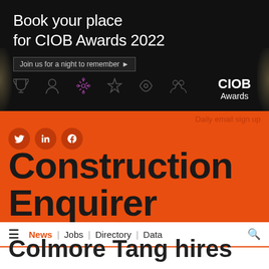[Figure (screenshot): CIOB Awards 2022 advertisement banner on dark background. Text reads: 'Book your place for CIOB Awards 2022', 'Join us for a night to remember ▶'. Icons for award categories shown, CIOB Awards logo in bottom right.]
[Figure (logo): Construction Enquirer website header on orange background with social media icons (Twitter, LinkedIn, Facebook) and 'Daily email sign up' link. Site title 'Construction Enquirer' in large black bold text.]
News | Jobs | Directory | Data
Colmore Tang hires ex-Carillion team